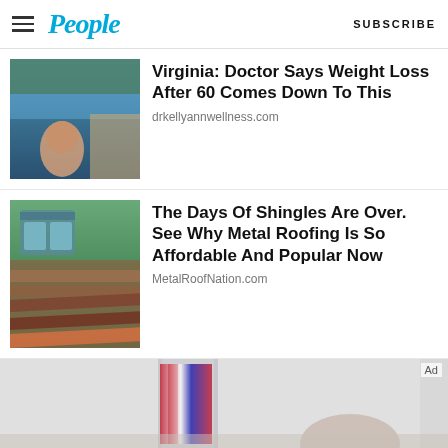People — SUBSCRIBE
Virginia: Doctor Says Weight Loss After 60 Comes Down To This
drkellyannwellness.com
The Days Of Shingles Are Over. See Why Metal Roofing Is So Affordable And Popular Now
MetalRoofNation.com
[Figure (photo): Advertisement banner for Welcome To Wrexham FX show on Hulu with team photo]
Ad